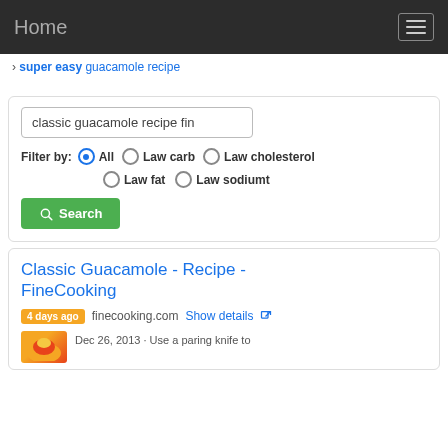Home
› super easy guacamole recipe
[Figure (screenshot): Search box with text 'classic guacamole recipe fin', filter options: All (selected), Law carb, Law cholesterol, Law fat, Law sodiumt, and a green Search button]
Classic Guacamole - Recipe - FineCooking
4 days ago  finecooking.com  Show details
Dec 26, 2013 · Use a paring knife to